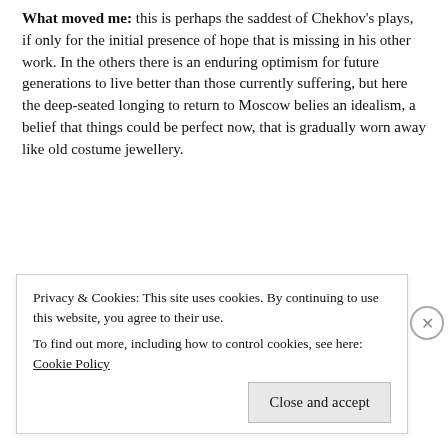What moved me: this is perhaps the saddest of Chekhov's plays, if only for the initial presence of hope that is missing in his other work. In the others there is an enduring optimism for future generations to live better than those currently suffering, but here the deep-seated longing to return to Moscow belies an idealism, a belief that things could be perfect now, that is gradually worn away like old costume jewellery.
As was seeded in Ivanov, Chekhov's control of entry
Privacy & Cookies: This site uses cookies. By continuing to use this website, you agree to their use.
To find out more, including how to control cookies, see here: Cookie Policy